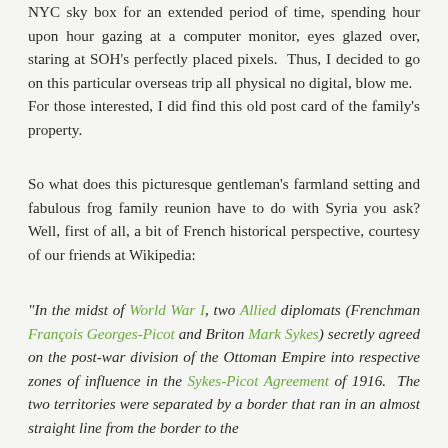NYC sky box for an extended period of time, spending hour upon hour gazing at a computer monitor, eyes glazed over, staring at SOH's perfectly placed pixels. Thus, I decided to go on this particular overseas trip all physical no digital, blow me.   For those interested, I did find this old post card of the family's property.
So what does this picturesque gentleman's farmland setting and fabulous frog family reunion have to do with Syria you ask? Well, first of all, a bit of French historical perspective, courtesy of our friends at Wikipedia:
“In the midst of World War I, two Allied diplomats (Frenchman François Georges-Picot and Briton Mark Sykes) secretly agreed on the post-war division of the Ottoman Empire into respective zones of influence in the Sykes-Picot Agreement of 1916.  The two territories were separated by a border that ran in an almost straight line from the border to the around 1920 and at line